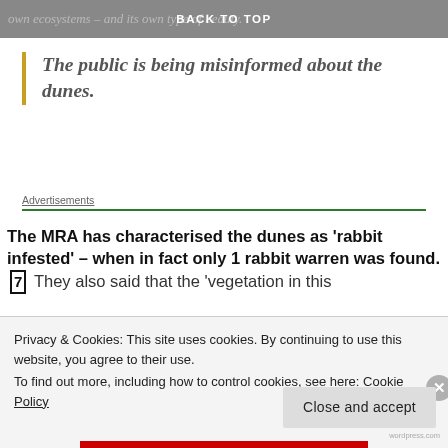BACK TO TOP
own ecosystems – and its own type of beauty.
The public is being misinformed about the dunes.
Advertisements
The MRA has characterised the dunes as 'rabbit infested' – when in fact only 1 rabbit warren was found.[7]  They also said that the 'vegetation in this
Privacy & Cookies: This site uses cookies. By continuing to use this website, you agree to their use.
To find out more, including how to control cookies, see here: Cookie Policy
Close and accept